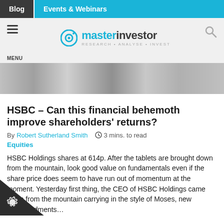Blog | Events & Webinars
[Figure (logo): Master Investor logo with tagline RESEARCH · ANALYSE · INVEST]
[Figure (photo): Hero image strip showing partial view of a round mirror or circular object]
HSBC – Can this financial behemoth improve shareholders' returns?
By Robert Sutherland Smith   ⏱ 3 mins. to read
Equities
HSBC Holdings shares at 614p. After the tablets are brought down from the mountain, look good value on fundamentals even if the share price does seem to have run out of momentum at the moment. Yesterday first thing, the CEO of HSBC Holdings came down from the mountain carrying in the style of Moses, new commandments...